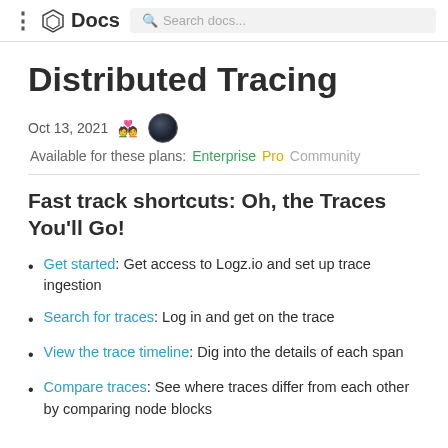Docs | Search docs...
Distributed Tracing
Oct 13, 2021  [people icon] [avatar]
Available for these plans: Enterprise Pro Community
Fast track shortcuts: Oh, the Traces You'll Go!
Get started: Get access to Logz.io and set up trace ingestion
Search for traces: Log in and get on the trace
View the trace timeline: Dig into the details of each span
Compare traces: See where traces differ from each other by comparing node blocks